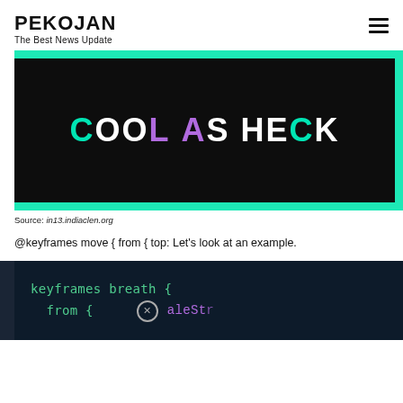PEKOJAN
The Best News Update
[Figure (illustration): Dark themed graphic with teal/green border on black background showing the text 'COOL AS HECK' in large bold letters with cyan, white, and purple coloring]
Source: in13.indiaclen.org
@keyframes move { from { top: Let’s look at an example.
[Figure (screenshot): Dark code editor screenshot showing CSS keyframes code: 'keyframes breath {' and 'from {' with a circled X icon, on dark navy background with green/teal monospace font]